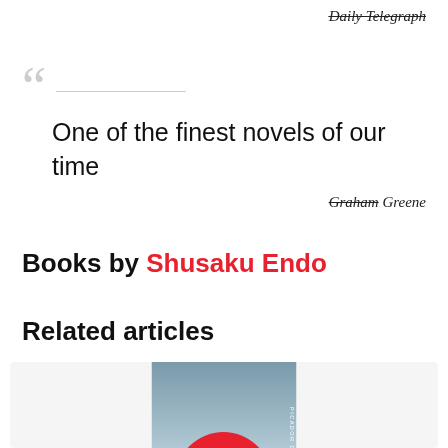Daily Telegraph
One of the finest novels of our time
Graham Greene
Books by Shusaku Endo
Related articles
[Figure (illustration): Book cover with grey-blue background and red circular shape at bottom, with text 'PICADOR CLASSIC']